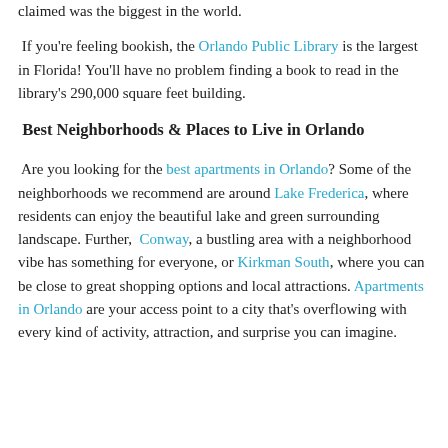claimed was the biggest in the world.
If you're feeling bookish, the Orlando Public Library is the largest in Florida! You'll have no problem finding a book to read in the library's 290,000 square feet building.
Best Neighborhoods & Places to Live in Orlando
Are you looking for the best apartments in Orlando? Some of the neighborhoods we recommend are around Lake Frederica, where residents can enjoy the beautiful lake and green surrounding landscape. Further, Conway, a bustling area with a neighborhood vibe has something for everyone, or Kirkman South, where you can be close to great shopping options and local attractions. Apartments in Orlando are your access point to a city that's overflowing with every kind of activity, attraction, and surprise you can imagine.